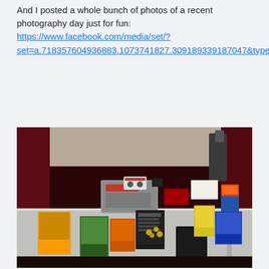And I posted a whole bunch of photos of a recent photography day just for fun: https://www.facebook.com/media/set/?set=a.718357604936883.1073741827.309189339187047&type=3
[Figure (photo): A table covered with retro video game boxes, cartridges, and consoles including what appears to be a Super Nintendo console box, various game cartridges and boxes, against a dark red curtain background]